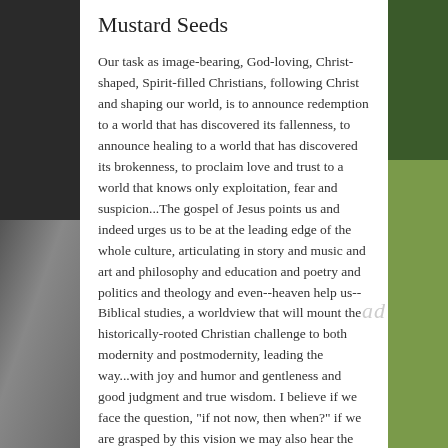Mustard Seeds
Our task as image-bearing, God-loving, Christ-shaped, Spirit-filled Christians, following Christ and shaping our world, is to announce redemption to a world that has discovered its fallenness, to announce healing to a world that has discovered its brokenness, to proclaim love and trust to a world that knows only exploitation, fear and suspicion...The gospel of Jesus points us and indeed urges us to be at the leading edge of the whole culture, articulating in story and music and art and philosophy and education and poetry and politics and theology and even--heaven help us--Biblical studies, a worldview that will mount the historically-rooted Christian challenge to both modernity and postmodernity, leading the way...with joy and humor and gentleness and good judgment and true wisdom. I believe if we face the question, "if not now, then when?" if we are grasped by this vision we may also hear the question, "if not us, then who?" And if the gospel of Jesus is not the key